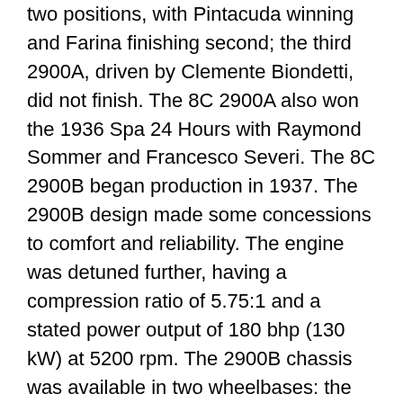two positions, with Pintacuda winning and Farina finishing second; the third 2900A, driven by Clemente Biondetti, did not finish. The 8C 2900A also won the 1936 Spa 24 Hours with Raymond Sommer and Francesco Severi. The 8C 2900B began production in 1937. The 2900B design made some concessions to comfort and reliability. The engine was detuned further, having a compression ratio of 5.75:1 and a stated power output of 180 bhp (130 kW) at 5200 rpm. The 2900B chassis was available in two wheelbases: the Corto (short) at 2,799 mm (110.2 in), which was longer than the 2900A's 2,718 mm (107.0 in) wheelbase, and the Lungo (long) at 3,000 mm (118.1 in). The wheels of the 2900B had 19-inch rims fitted with 17-inch (432 mm) hydraulic drum brakes. Thirty-two 2900Bs were built in regular production, ten in 1937, and twenty-two in 1938. Another 2900B was assembled from parts in 1941. Most of these cars were bodied by Carrozzeria Touring, although a few were bodied by Pininfarina An 8C 2900 with Pininfarina cabriolet bodywork was auctioned for